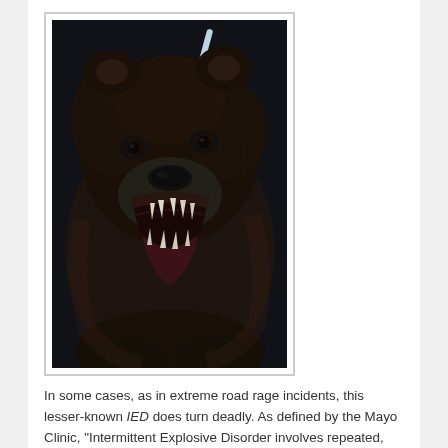[Figure (photo): Close-up photograph of a roaring bear with dark fur, open mouth showing teeth, against a dark background.]
In some cases, as in extreme road rage incidents, this lesser-known IED does turn deadly. As defined by the Mayo Clinic, "Intermittent Explosive Disorder involves repeated, sudden episodes of impulsive, aggressive, violent behavior or angry verbal outbursts . . . grossly out of proportion to the situation. Road rage, domestic abuse, throwing or breaking objects, or other temper tantrums may be signs of intermittent explosive disorder." Simply put, this explosive disorder brings out the beast in some of